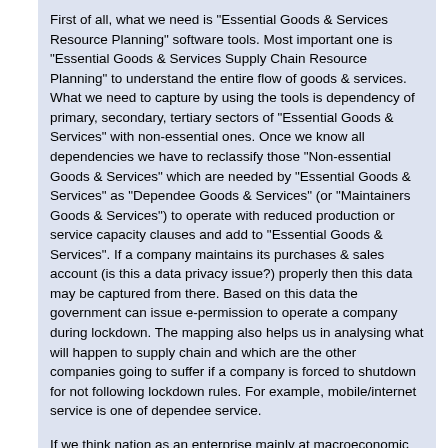First of all, what we need is "Essential Goods & Services Resource Planning" software tools. Most important one is "Essential Goods & Services Supply Chain Resource Planning" to understand the entire flow of goods & services. What we need to capture by using the tools is dependency of primary, secondary, tertiary sectors of "Essential Goods & Services" with non-essential ones. Once we know all dependencies we have to reclassify those "Non-essential Goods & Services" which are needed by "Essential Goods & Services" as "Dependee Goods & Services" (or "Maintainers Goods & Services") to operate with reduced production or service capacity clauses and add to "Essential Goods & Services". If a company maintains its purchases & sales account (is this a data privacy issue?) properly then this data may be captured from there. Based on this data the government can issue e-permission to operate a company during lockdown. The mapping also helps us in analysing what will happen to supply chain and which are the other companies going to suffer if a company is forced to shutdown for not following lockdown rules. For example, mobile/internet service is one of dependee service.
If we think nation as an enterprise mainly at macroeconomic level then nested within it will be so many other enterprises mainly at microeconomic level. Each state is an enterprise and even each local government is an enterprise. Then there are so many other individual/family/public/private/corporate/non-corporate/organized/unorganized/cooperative/volunteer enterprises. Many of them may be enterprise at international levels. We can imagine each ministry as an enterprise nested in nation/state enterprises. All these enterprises (fully autonomous or not) though locally controlled by the respective owners need to interact with